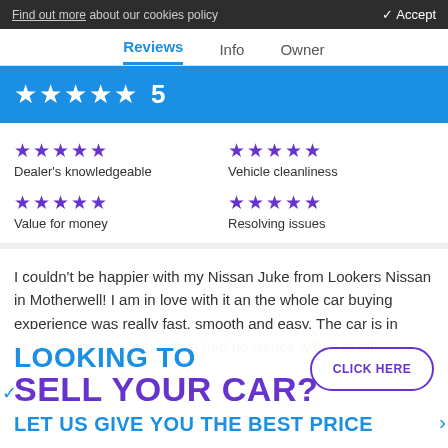Find out more about our cookies policy    ✓ Accept
Reviews  Info  Owner
★★★★★ 5
★★★★★ Dealer's knowledgeable  ★★★★★ Vehicle cleanliness  ★★★★★ Value for money  ★★★★★ Resolving issues
I couldn't be happier with my Nissan Juke from Lookers Nissan in Motherwell! I am in love with it an the whole car buying experience was really fast, smooth and easy. The car is in perfect condition and I have had no issues with it at all.
LOOKING TO SELL YOUR CAR? LET US GIVE YOU THE BEST PRICE   CLICK HERE